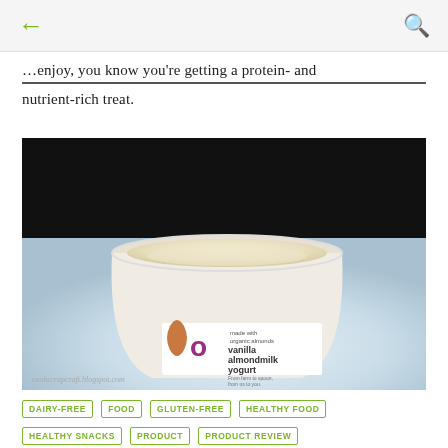← (back arrow)   (search icon)
…enjoy it, you know you're getting a protein- and nutrient-rich treat.
[Figure (photo): Open container of Kite Hill vanilla almondmilk yogurt on a white plate. The label reads 'made with organic almonds, vanilla almondmilk yogurt, From farm to spoon, from us to you.' Watermark: cookscrapcraft.blogspot.com]
DAIRY-FREE
FOOD
GLUTEN-FREE
HEALTHY FOOD
HEALTHY SNACKS
PRODUCT
PRODUCT REVIEW